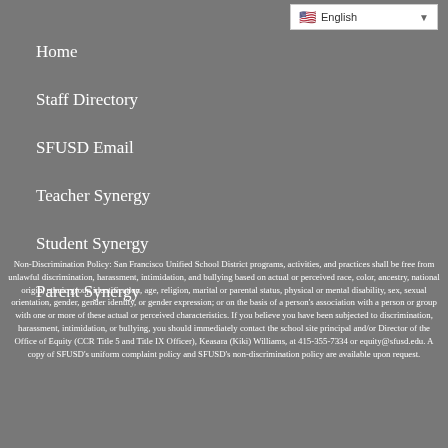English (language selector)
Home
Staff Directory
SFUSD Email
Teacher Synergy
Student Synergy
Parent Synergy
Non-Discrimination Policy: San Francisco Unified School District programs, activities, and practices shall be free from unlawful discrimination, harassment, intimidation, and bullying based on actual or perceived race, color, ancestry, national origin, ethnic group identification, age, religion, marital or parental status, physical or mental disability, sex, sexual orientation, gender, gender identity, or gender expression; or on the basis of a person’s association with a person or group with one or more of these actual or perceived characteristics. If you believe you have been subjected to discrimination, harassment, intimidation, or bullying, you should immediately contact the school site principal and/or Director of the Office of Equity (CCR Title 5 and Title IX Officer), Keasara (Kiki) Williams, at 415-355-7334 or equity@sfusd.edu. A copy of SFUSD’s uniform complaint policy and SFUSD’s non-discrimination policy are available upon request.